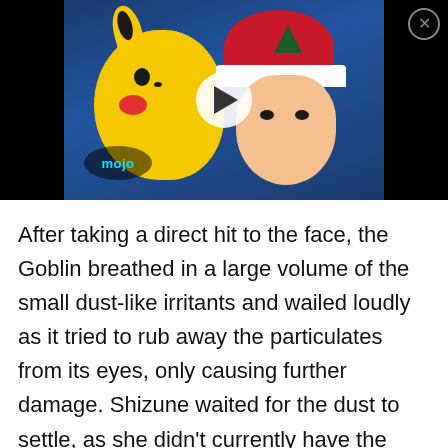[Figure (screenshot): Video thumbnail showing Pikachu and Ash Ketchum from the Pokemon anime, with a play button overlay and the WatchMojo logo in the bottom left. A close (X) button is in the top right corner.]
After taking a direct hit to the face, the Goblin breathed in a large volume of the small dust-like irritants and wailed loudly as it tried to rub away the particulates from its eyes, only causing further damage. Shizune waited for the dust to settle, as she didn't currently have the [Abnormal Resistance] Development Ability yet,